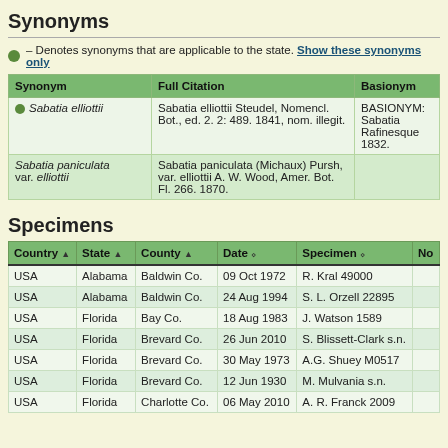Synonyms
● – Denotes synonyms that are applicable to the state. Show these synonyms only
| Synonym | Full Citation | Basionym |
| --- | --- | --- |
| Sabatia elliottii | Sabatia elliottii Steudel, Nomencl. Bot., ed. 2. 2: 489. 1841, nom. illegit. | BASIONYM: Saba... Rafinesque 1832. |
| Sabatia paniculata var. elliottii | Sabatia paniculata (Michaux) Pursh, var. elliottii A. W. Wood, Amer. Bot. Fl. 266. 1870. |  |
Specimens
| Country | State | County | Date | Specimen | No |
| --- | --- | --- | --- | --- | --- |
| USA | Alabama | Baldwin Co. | 09 Oct 1972 | R. Kral 49000 |  |
| USA | Alabama | Baldwin Co. | 24 Aug 1994 | S. L. Orzell 22895 |  |
| USA | Florida | Bay Co. | 18 Aug 1983 | J. Watson 1589 |  |
| USA | Florida | Brevard Co. | 26 Jun 2010 | S. Blissett-Clark s.n. |  |
| USA | Florida | Brevard Co. | 30 May 1973 | A.G. Shuey M0517 |  |
| USA | Florida | Brevard Co. | 12 Jun 1930 | M. Mulvania s.n. |  |
| USA | Florida | Charlotte Co. | 06 May 2010 | A. R. Franck 2009 |  |